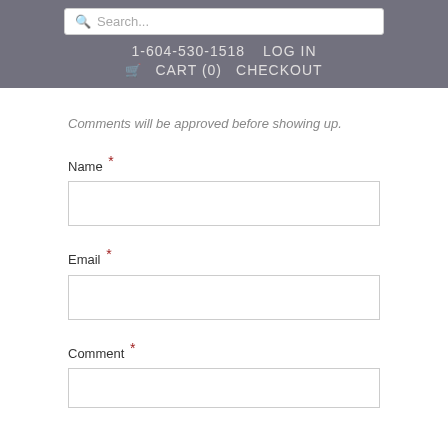Search...  1-604-530-1518  LOG IN  CART (0)  CHECKOUT
Comments will be approved before showing up.
Name *
Email *
Comment *